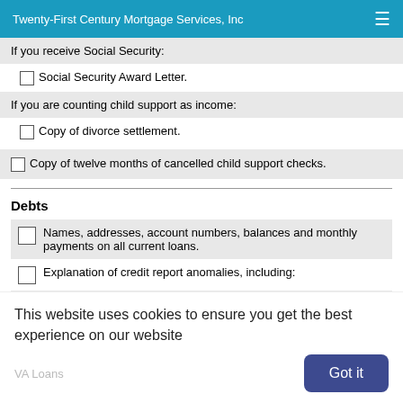Twenty-First Century Mortgage Services, Inc
If you receive Social Security:
Social Security Award Letter.
If you are counting child support as income:
Copy of divorce settlement.
Copy of twelve months of cancelled child support checks.
Debts
Names, addresses, account numbers, balances and monthly payments on all current loans.
Explanation of credit report anomalies, including:
Late payments, credit inquiries in the last 90 days, charge-offs, collections, judgments and/or liens.
Bankruptcy filed within last seven years (bring a copy of your
This website uses cookies to ensure you get the best experience on our website
VA Loans
Got it